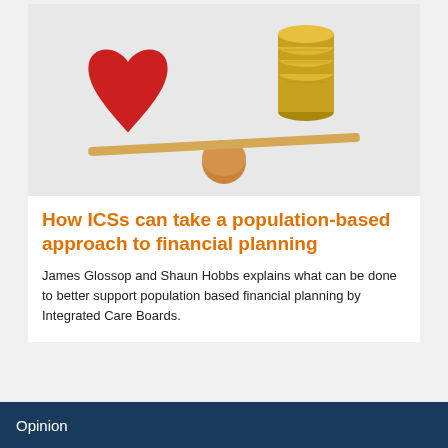[Figure (illustration): A balance/seesaw image with a red heart on the left side and a stack of gold coins on the right side, balanced on a wooden ball, representing the balance between health and financial considerations.]
How ICSs can take a population-based approach to financial planning
James Glossop and Shaun Hobbs explains what can be done to better support population based financial planning by Integrated Care Boards.
Opinion